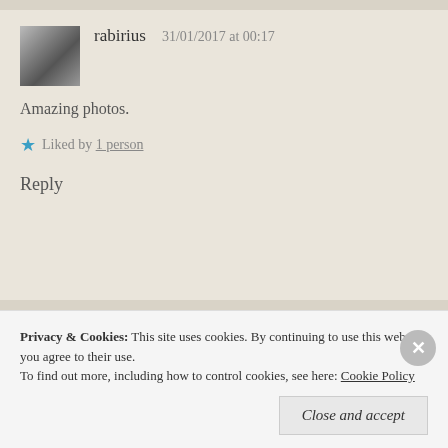[Figure (photo): Avatar photo for user rabirius, small square thumbnail showing a black and white image with figures]
rabirius   31/01/2017 at 00:17
Amazing photos.
★ Liked by 1 person
Reply
[Figure (photo): Avatar photo for Untraveled Routes, small square thumbnail showing two people outdoors]
Untraveled Routes   25/04/2017 at 04:31
Privacy & Cookies:  This site uses cookies. By continuing to use this website, you agree to their use.
To find out more, including how to control cookies, see here: Cookie Policy
Close and accept